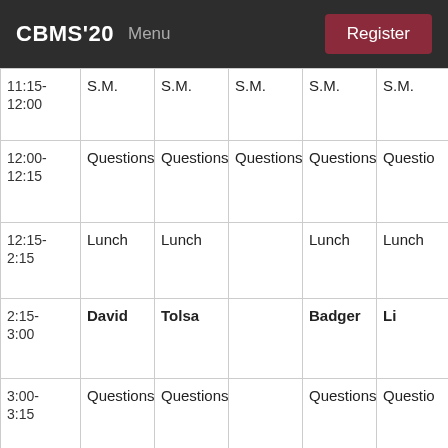CBMS'20  Menu  Register
| Time | Col1 | Col2 | Col3 | Col4 | Col5 |
| --- | --- | --- | --- | --- | --- |
| 11:15-12:00 | S.M. | S.M. | S.M. | S.M. | S.M. |
| 12:00-12:15 | Questions | Questions | Questions | Questions | Questio... |
| 12:15-2:15 | Lunch | Lunch |  | Lunch | Lunch |
| 2:15-3:00 | David | Tolsa |  | Badger | Li |
| 3:00-3:15 | Questions | Questions |  | Questions | Questio... |
| 3:15- | Break | Break |  | Break | Break |